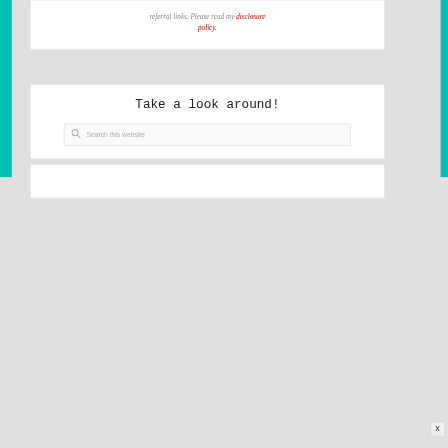referral links. Please read my disclosure policy.
Take a look around!
Search this website